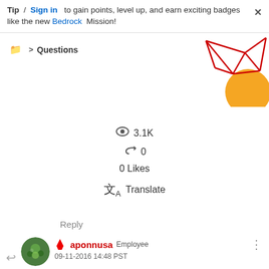Tip / Sign in to gain points, level up, and earn exciting badges like the new Bedrock Mission!
Questions
[Figure (illustration): Decorative geometric graphic with red lines forming a polygon/star shape and an orange circle in the top-right corner]
3.1K
0
0 Likes
Translate
Reply
aponnusa Employee 09-11-2016 14:48 PST
Sorry for the delay, I was try to set up a system with 1.8.448 Uber. I couldnt reproduce the issue.